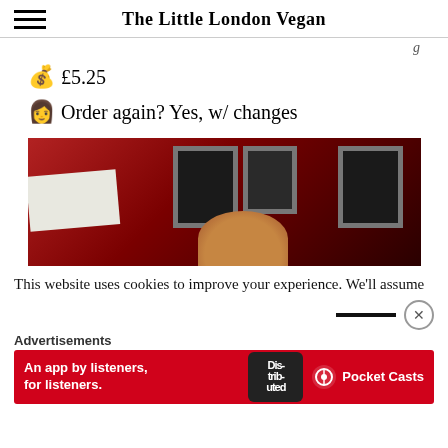The Little London Vegan
g
💰 £5.25
👩 Order again? Yes, w/ changes
[Figure (photo): A person photographed from above in a dimly lit room with dark red walls covered in framed pictures. The top of a person's head and hand are visible, along with what appears to be a white paper or menu.]
This website uses cookies to improve your experience. We'll assume
Advertisements
[Figure (screenshot): Advertisement banner for Pocket Casts app with red background. Text reads: An app by listeners, for listeners. Pocket Casts logo visible on right side.]